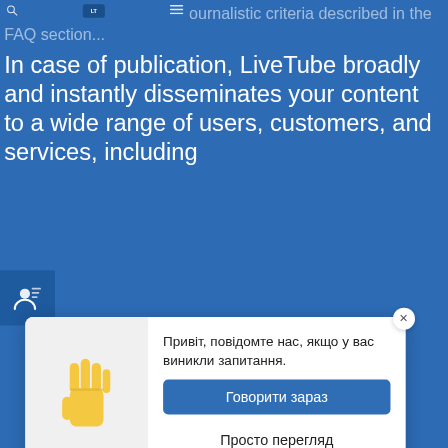your broadcast based on journalistic criteria described in the FAQ section...
In case of publication, LiveTube broadly and instantly disseminates your content to a wide range of users, customers, and services, including
[Figure (screenshot): Chat popup widget with waving hand emoji on left, Ukrainian text 'Привіт, повідомте нас, якщо у вас виникли запитання.' and two buttons: 'Говорити зараз' (blue) and 'Просто перегляд' (white), with a close X button]
market research firms that analyze
insights.
Написати повідомлення...
Location Information: We may